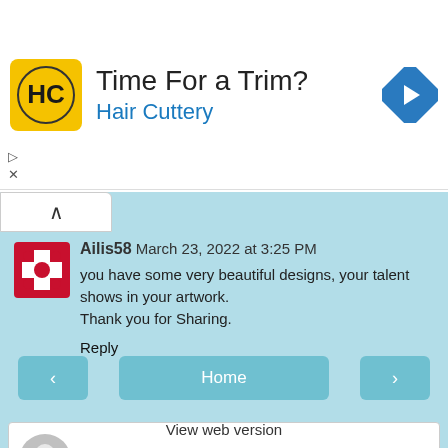[Figure (infographic): Advertisement banner for Hair Cuttery with logo, title 'Time For a Trim?' and navigation arrow icon]
Ailis58 March 23, 2022 at 3:25 PM
you have some very beautiful designs, your talent shows in your artwork.
Thank you for Sharing.
Reply
Enter Comment
Home
View web version